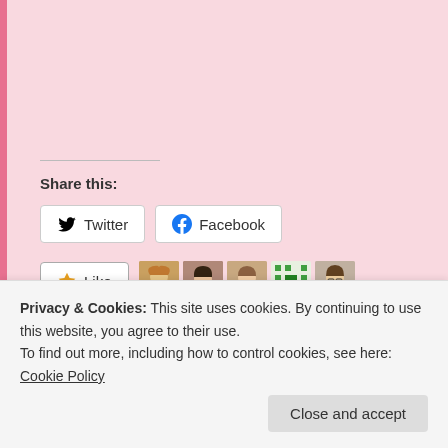Share this:
[Figure (other): Twitter share button]
[Figure (other): Facebook share button]
[Figure (other): Like button with 5 blogger avatars]
5 bloggers like this.
Related
Renaissance Fair Crochet Cosplay 2019
Off To The Renaissance Fair At Last
Privacy & Cookies: This site uses cookies. By continuing to use this website, you agree to their use.
To find out more, including how to control cookies, see here: Cookie Policy
Close and accept